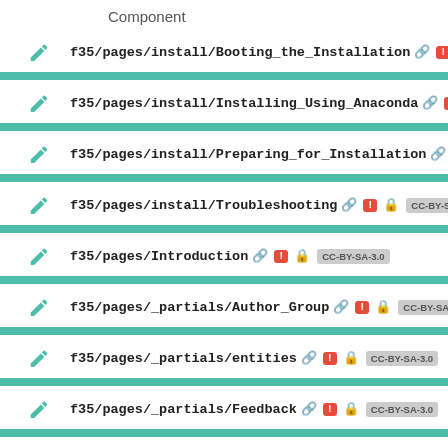Component
f35/pages/install/Booting_the_Installation
f35/pages/install/Installing_Using_Anaconda
f35/pages/install/Preparing_for_Installation
f35/pages/install/Troubleshooting CC-BY-SA-3.0
f35/pages/Introduction CC-BY-SA-3.0
f35/pages/_partials/Author_Group CC-BY-SA-3.0
f35/pages/_partials/entities CC-BY-SA-3.0
f35/pages/_partials/Feedback CC-BY-SA-3.0